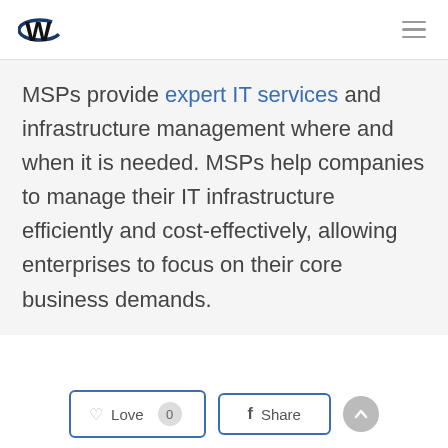W logo and hamburger menu
MSPs provide expert IT services and infrastructure management where and when it is needed. MSPs help companies to manage their IT infrastructure efficiently and cost-effectively, allowing enterprises to focus on their core business demands.
Love 0  Share